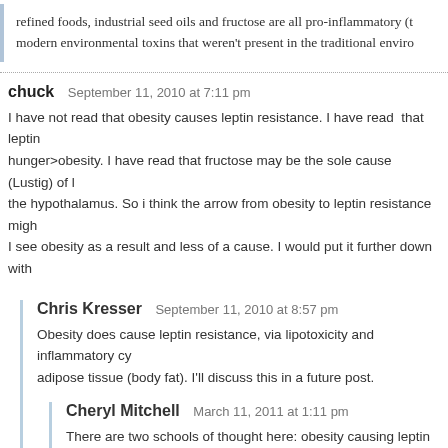refined foods, industrial seed oils and fructose are all pro-inflammatory (t modern environmental toxins that weren't present in the traditional enviro
chuck  September 11, 2010 at 7:11 pm
I have not read that obesity causes leptin resistance. I have read that leptin hunger>obesity. I have read that fructose may be the sole cause (Lustig) of l the hypothalamus. So i think the arrow from obesity to leptin resistance migh I see obesity as a result and less of a cause. I would put it further down with
Chris Kresser  September 11, 2010 at 8:57 pm
Obesity does cause leptin resistance, via lipotoxicity and inflammatory cy adipose tissue (body fat). I'll discuss this in a future post.
Cheryl Mitchell  March 11, 2011 at 1:11 pm
There are two schools of thought here: obesity causing leptin (and ins opposing view. Consider the work of Gerald Reaven (Stanford) in you